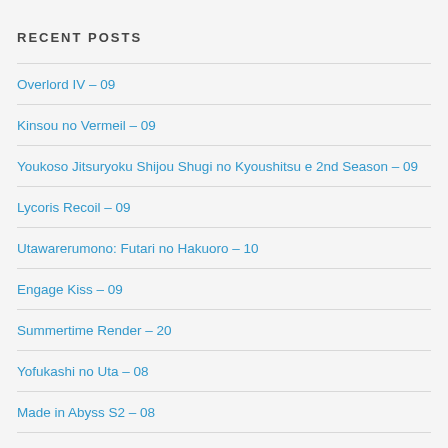RECENT POSTS
Overlord IV – 09
Kinsou no Vermeil – 09
Youkoso Jitsuryoku Shijou Shugi no Kyoushitsu e 2nd Season – 09
Lycoris Recoil – 09
Utawarerumono: Futari no Hakuoro – 10
Engage Kiss – 09
Summertime Render – 20
Yofukashi no Uta – 08
Made in Abyss S2 – 08
Donations: They're (A)live!